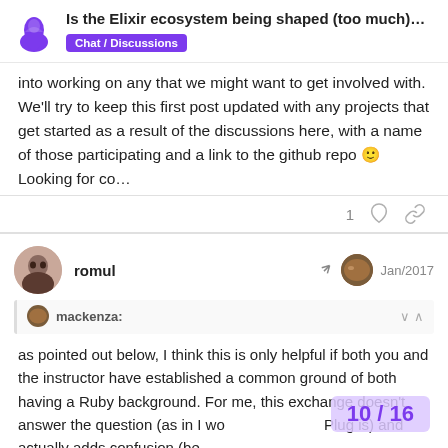Is the Elixir ecosystem being shaped (too much)... Chat / Discussions
into working on any that we might want to get involved with. We'll try to keep this first post updated with any projects that get started as a result of the discussions here, with a name of those participating and a link to the github repo 🙂 Looking for co…
1
romul Jan/2017
mackenza:
as pointed out below, I think this is only helpful if both you and the instructor have established a common ground of both having a Ruby background. For me, this exchange doesn't answer the question (as in I wo... Plug is) and actually adds confusion (be...
10 / 16